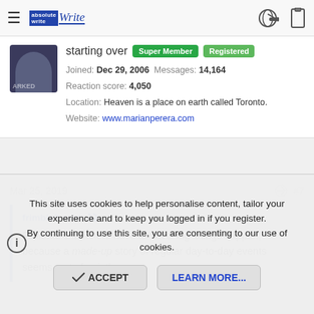AbsoluteWrite — navigation bar with hamburger menu, logo, key icon, and clipboard icon
starting over  Super Member  Registered
Joined: Dec 29, 2006  Messages: 14,164
Reaction score: 4,050
Location: Heaven is a place on earth called Toronto.
Website: www.marianperera.com
Mar 25, 2019  #7
frimble3 said:
Fictional characters have to have 'big' things happen, because a made-up story of regular day-to-day events seems sort of pointless.
This site uses cookies to help personalise content, tailor your experience and to keep you logged in if you register.
By continuing to use this site, you are consenting to our use of cookies.
ACCEPT    LEARN MORE...